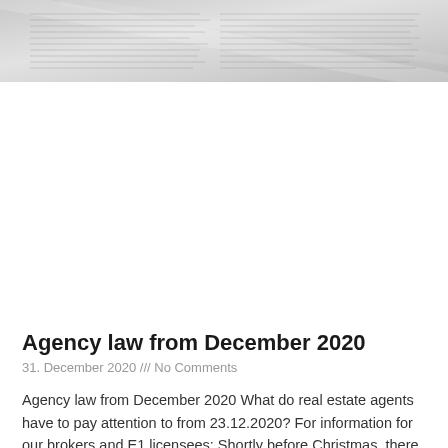[Figure (photo): Close-up photograph of newspaper pages, showing text columns in grey tones]
Agency law from December 2020
31. December 2020 /// No Comments
Agency law from December 2020 What do real estate agents have to pay attention to from 23.12.2020? For information for our brokers and E1 licensees: Shortly before Christmas, there was a change in the brokercommission commission: the new law on brokerage commission from 23 December 2020 was already adopted by the German Bundestag in June.